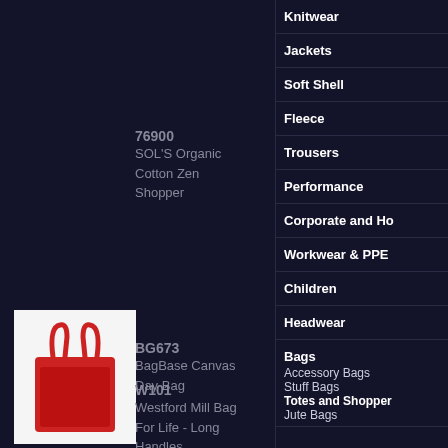76900
SOL'S Organic Cotton Zen Shopper
BG673
BagBase Canvas Day Bag
[Figure (photo): Red tote bag with long handles on white background]
W101
Westford Mill Bag For Life - Long Handles
Knitwear
Jackets
Soft Shell
Fleece
Trousers
Performance
Corporate and Ho
Workwear & PPE
Children
Headwear
Bags
Accessory Bags
Stuff Bags
Totes and Shopper
Jute Bags